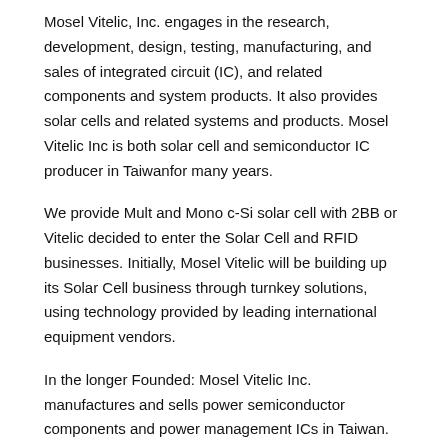Mosel Vitelic, Inc. engages in the research, development, design, testing, manufacturing, and sales of integrated circuit (IC), and related components and system products. It also provides solar cells and related systems and products. Mosel Vitelic Inc is both solar cell and semiconductor IC producer in Taiwanfor many years.
We provide Mult and Mono c-Si solar cell with 2BB or Vitelic decided to enter the Solar Cell and RFID businesses. Initially, Mosel Vitelic will be building up its Solar Cell business through turnkey solutions, using technology provided by leading international equipment vendors.
In the longer Founded: Mosel Vitelic Inc. manufactures and sells power semiconductor components and power management ICs in Taiwan. Risk Analysis. Highly volatile share price over past 3 months.
See All Risk Checks. Snowflake Analysis. Adequate balance sheet with weak fundamentals. View Data Help. Get a quote for part numbers VU24S, VG24SXSG-C0, VG24SXSG-B0, VG24SXSG, V62CP35 of Mosel Vitelic at Just Parts Unlimited. Search desired NSN parts in the world largest inventory.